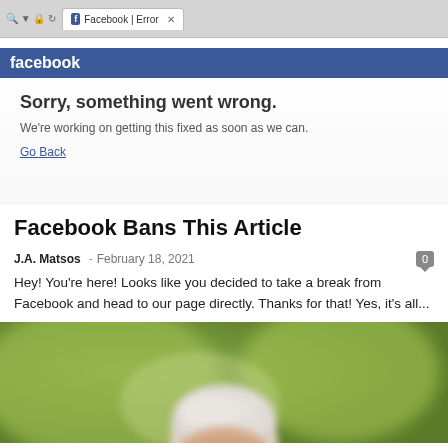[Figure (screenshot): Screenshot of a browser window showing Facebook error page with 'Sorry, something went wrong.' message, tab reading 'Facebook | Error', and a 'Go Back' link.]
Facebook Bans This Article
J.A. Matsos  -  February 18, 2021
Hey! You're here! Looks like you decided to take a break from Facebook and head to our page directly. Thanks for that! Yes, it's all...
[Figure (photo): Close-up photo of the top of an elderly person's head with white hair, blurred green background.]